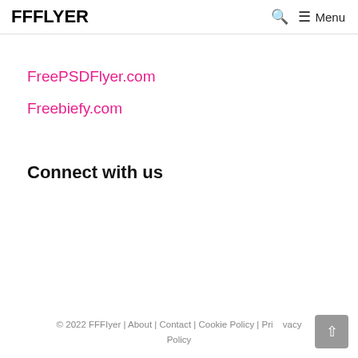FFFLYER  🔍  ☰ Menu
FreePSDFlyer.com
Freebiefy.com
Connect with us
© 2022 FFFIyer | About | Contact | Cookie Policy | Privacy Policy